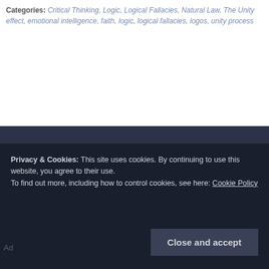Categories: Critical Thinking, Logic, Logical Fallacies, Natural Law, The Unity effect, emotional intelligence, faith, logic, logical fallacies, logos, unity process
Top Posts & Pages
The Hermetic Dynamics of Twin Flames
Feminist Roundup
What Does Balance and Neutrality Really Mean?
Duality vs Polarity
Recent Posts
Feminist Roundup
What is Shadow Work? R
Logic and Morality
Is Communism Fueled by Hatred?
Former NFL QB Jake Plu
Privacy & Cookies: This site uses cookies. By continuing to use this website, you agree to their use. To find out more, including how to control cookies, see here: Cookie Policy
Close and accept